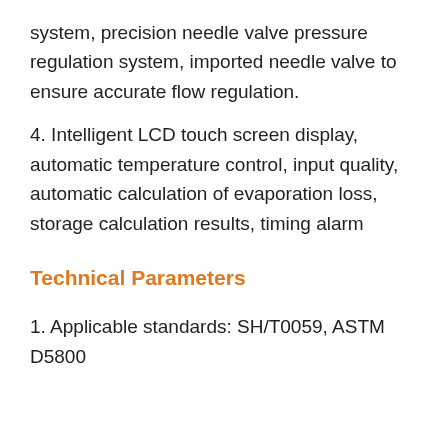system, precision needle valve pressure regulation system, imported needle valve to ensure accurate flow regulation.
4. Intelligent LCD touch screen display, automatic temperature control, input quality, automatic calculation of evaporation loss, storage calculation results, timing alarm
Technical Parameters
1. Applicable standards: SH/T0059, ASTM D5800